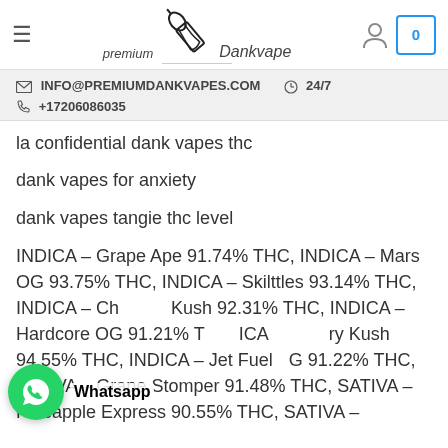premium Dankvape — navigation header with hamburger menu, logo, user icon, and cart (0)
INFO@PREMIUMDANKVAPES.COM   24/7
+17206086035
la confidential dank vapes thc
dank vapes for anxiety
dank vapes tangie thc level
INDICA – Grape Ape 91.74% THC, INDICA – Mars OG 93.75% THC, INDICA – Skilttles 93.14% THC, INDICA – Chemdawg Kush 92.31% THC, INDICA – Hardcore OG 91.21% THC, INDICA – Blackberry Kush 94.55% THC, INDICA – Jet Fuel OG 91.22% THC, SATIVA – Grape Stomper 91.48% THC, SATIVA – Pineapple Express 90.55% THC, SATIVA –
[Figure (screenshot): WhatsApp chat bubble (green circle with phone icon) overlaid on content, with 'Whatsapp' label]